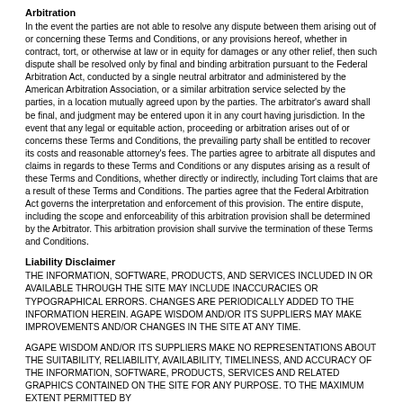Arbitration
In the event the parties are not able to resolve any dispute between them arising out of or concerning these Terms and Conditions, or any provisions hereof, whether in contract, tort, or otherwise at law or in equity for damages or any other relief, then such dispute shall be resolved only by final and binding arbitration pursuant to the Federal Arbitration Act, conducted by a single neutral arbitrator and administered by the American Arbitration Association, or a similar arbitration service selected by the parties, in a location mutually agreed upon by the parties. The arbitrator's award shall be final, and judgment may be entered upon it in any court having jurisdiction. In the event that any legal or equitable action, proceeding or arbitration arises out of or concerns these Terms and Conditions, the prevailing party shall be entitled to recover its costs and reasonable attorney's fees. The parties agree to arbitrate all disputes and claims in regards to these Terms and Conditions or any disputes arising as a result of these Terms and Conditions, whether directly or indirectly, including Tort claims that are a result of these Terms and Conditions. The parties agree that the Federal Arbitration Act governs the interpretation and enforcement of this provision. The entire dispute, including the scope and enforceability of this arbitration provision shall be determined by the Arbitrator. This arbitration provision shall survive the termination of these Terms and Conditions.
Liability Disclaimer
THE INFORMATION, SOFTWARE, PRODUCTS, AND SERVICES INCLUDED IN OR AVAILABLE THROUGH THE SITE MAY INCLUDE INACCURACIES OR TYPOGRAPHICAL ERRORS. CHANGES ARE PERIODICALLY ADDED TO THE INFORMATION HEREIN. AGAPE WISDOM AND/OR ITS SUPPLIERS MAY MAKE IMPROVEMENTS AND/OR CHANGES IN THE SITE AT ANY TIME.
AGAPE WISDOM AND/OR ITS SUPPLIERS MAKE NO REPRESENTATIONS ABOUT THE SUITABILITY, RELIABILITY, AVAILABILITY, TIMELINESS, AND ACCURACY OF THE INFORMATION, SOFTWARE, PRODUCTS, SERVICES AND RELATED GRAPHICS CONTAINED ON THE SITE FOR ANY PURPOSE. TO THE MAXIMUM EXTENT PERMITTED BY